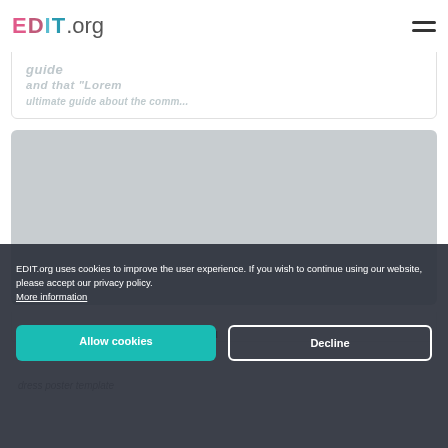EDIT.org
guide
and that "Lorem
ultimate guide about the comm...
[Figure (photo): Gray image placeholder rectangle for an article thumbnail or featured image]
Online Event and Catering Menu
dress poster template
EDIT.org uses cookies to improve the user experience. If you wish to continue using our website, please accept our privacy policy. More information
Allow cookies
Decline